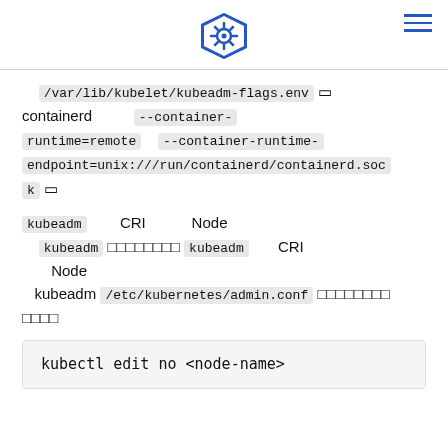Kubernetes logo and hamburger menu
/var/lib/kubelet/kubeadm-flags.env containerd --container-runtime=remote --container-runtime-endpoint=unix:///run/containerd/containerd.sock
kubeadm CRI Node kubeadm kubeadm CRI Node kubeadm /etc/kubernetes/admin.conf
kubectl edit no <node-name>